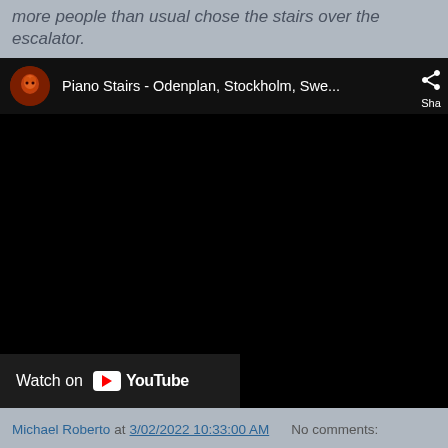more people than usual chose the stairs over the escalator.
[Figure (screenshot): Embedded YouTube video player showing 'Piano Stairs - Odenplan, Stockholm, Swe...' with a dark/black video frame and a 'Watch on YouTube' button at the bottom left. The channel icon shows a red/orange lion logo.]
Michael Roberto at 3/02/2022 10:33:00 AM   No comments: